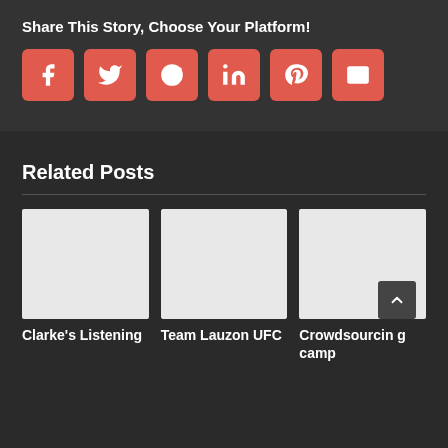Share This Story, Choose Your Platform!
[Figure (infographic): Six social sharing icon buttons (Facebook, Twitter, Reddit, LinkedIn, Pinterest, Email) as red rounded squares with white icons]
Related Posts
[Figure (photo): Placeholder image for Clarke's Listening post]
Clarke's Listening
[Figure (photo): Placeholder image for Team Lauzon UFC post]
Team Lauzon UFC
[Figure (photo): Placeholder image for Crowdsourcing camp post]
Crowdsourcin g camp